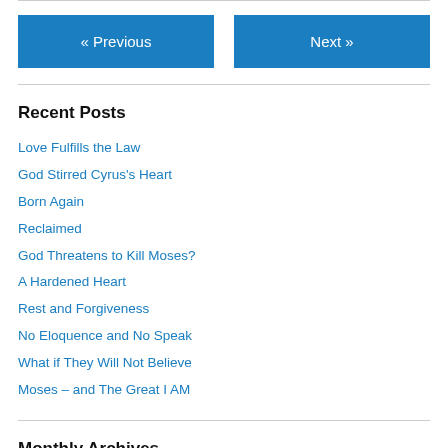« Previous
Next »
Recent Posts
Love Fulfills the Law
God Stirred Cyrus's Heart
Born Again
Reclaimed
God Threatens to Kill Moses?
A Hardened Heart
Rest and Forgiveness
No Eloquence and No Speak
What if They Will Not Believe
Moses – and The Great I AM
Monthly Archives